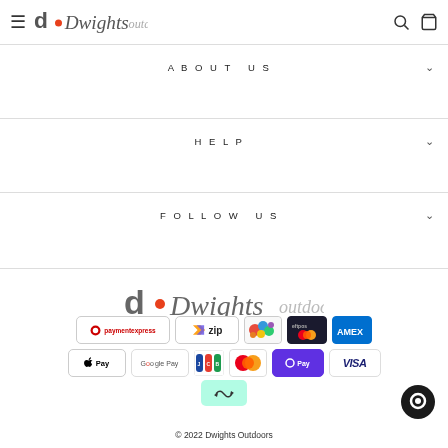Dwights outdoors
ABOUT US
HELP
FOLLOW US
[Figure (logo): Dwights outdoors logo centered]
[Figure (infographic): Payment method icons: paymentexpress, zip, colored circle logo, Eftpos Mastercard, AMEX, Apple Pay, Google Pay, JCB, Mastercard, OPay, VISA, Afterpay]
© 2022 Dwights Outdoors